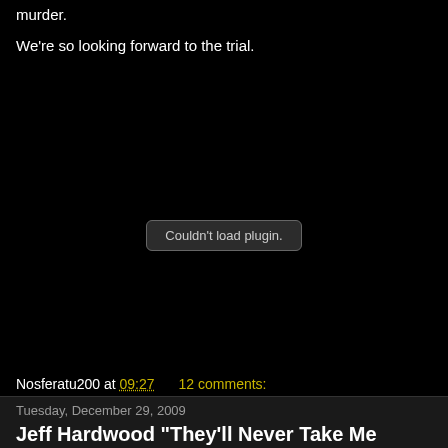murder.
We're so looking forward to the trial.
[Figure (other): Video embed area showing 'Couldn't load plugin.' error message on black background]
Nosferatu200 at 09:27    12 comments:
Share
Tuesday, December 29, 2009
Jeff Hardwood "They'll Never Take Me